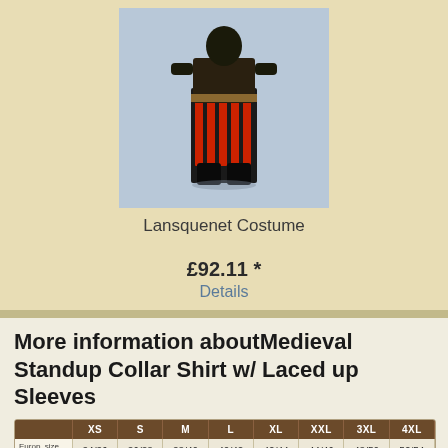[Figure (photo): Full-body photo of a person wearing a Lansquenet Costume with black and red striped puffed trousers, dark jacket, and belt, posed against a light blue background.]
Lansquenet Costume
£92.11 *
Details
More information aboutMedieval Standup Collar Shirt w/ Laced up Sleeves
|  | XS | S | M | L | XL | XXL | 3XL | 4XL |
| --- | --- | --- | --- | --- | --- | --- | --- | --- |
| Europ. size women | 34/36 | 36/38 | 38/40 | 40/42 | 42/44 | 44/46 | 48/50 | 52/54 |
| Eu... |  |  |  |  |  |  |  |  |
| French size | 36/38 | 38/40 | 40/42 | 42/44 | 44/46 | 46/48 | 50/52 | 54/56 |
[Figure (infographic): Customer Award badge (circular thumbs up icon) overlaid with star rating showing 4.5 stars, text 'Excellent: 4.7/5', date '19.08.2022', and 'REVIEWS' link.]